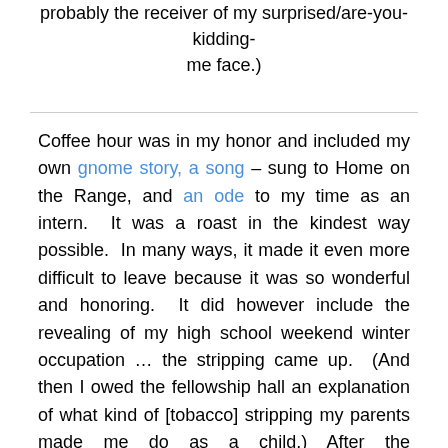probably the receiver of my surprised/are-you-kidding-me face.)
Coffee hour was in my honor and included my own gnome story, a song – sung to Home on the Range, and an ode to my time as an intern.  It was a roast in the kindest way possible.  In many ways, it made it even more difficult to leave because it was so wonderful and honoring.  It did however include the revealing of my high school weekend winter occupation … the stripping came up.  (And then I owed the fellowship hall an explanation of what kind of [tobacco] stripping my parents made me do as a child.) After the congregation members had made their leave, I took the much-talked-about tour of the sanctuary attic.  Keith, the custodian, had been promising me such a field trip for months to visit the bats, but it hadn't happened.